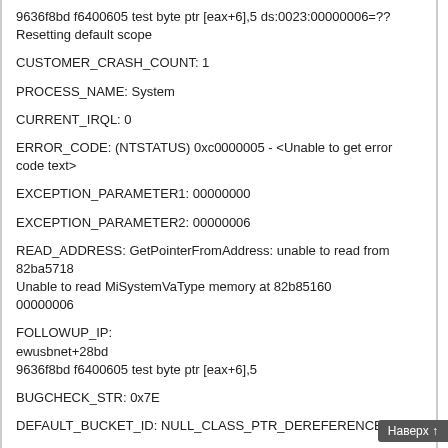9636f8bd f6400605 test byte ptr [eax+6],5 ds:0023:00000006=??
Resetting default scope
CUSTOMER_CRASH_COUNT: 1
PROCESS_NAME: System
CURRENT_IRQL: 0
ERROR_CODE: (NTSTATUS) 0xc0000005 - <Unable to get error code text>
EXCEPTION_PARAMETER1: 00000000
EXCEPTION_PARAMETER2: 00000006
READ_ADDRESS: GetPointerFromAddress: unable to read from 82ba5718
Unable to read MiSystemVaType memory at 82b85160
00000006
FOLLOWUP_IP:
ewusbnet+28bd
9636f8bd f6400605 test byte ptr [eax+6],5
BUGCHECK_STR: 0x7E
DEFAULT_BUCKET_ID: NULL_CLASS_PTR_DEREFERENCE
LAST_CONTROL_TRANSFER: from 82ea5b22 to 9636f8bd